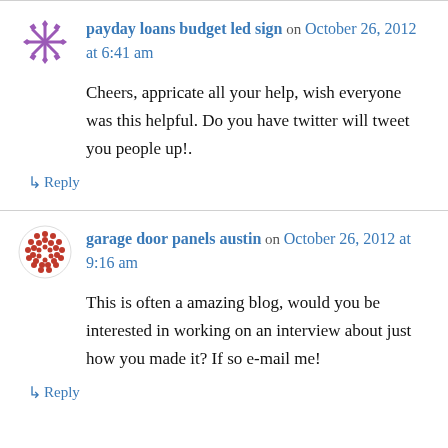payday loans budget led sign on October 26, 2012 at 6:41 am
Cheers, appricate all your help, wish everyone was this helpful. Do you have twitter will tweet you people up!.
↳ Reply
garage door panels austin on October 26, 2012 at 9:16 am
This is often a amazing blog, would you be interested in working on an interview about just how you made it? If so e-mail me!
↳ Reply